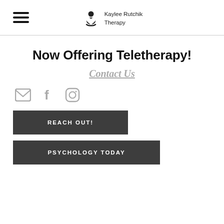Kaylee Rutchik Therapy
Now Offering Teletherapy!
Contact Us
[Figure (infographic): Social media icons: email envelope, Facebook f, Instagram camera]
REACH OUT!
PSYCHOLOGY TODAY